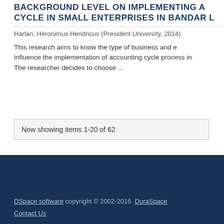BACKGROUND LEVEL ON IMPLEMENTING ACCOUNTING CYCLE IN SMALL ENTERPRISES IN BANDAR L...
Harlan, Heronimus Hendricus (President University, 2014)
This research aims to know the type of business and economic factors that influence the implementation of accounting cycle process in... The researcher decides to choose ...
Now showing items 1-20 of 62
DSpace software copyright © 2002-2016  DuraSpace
Contact Us